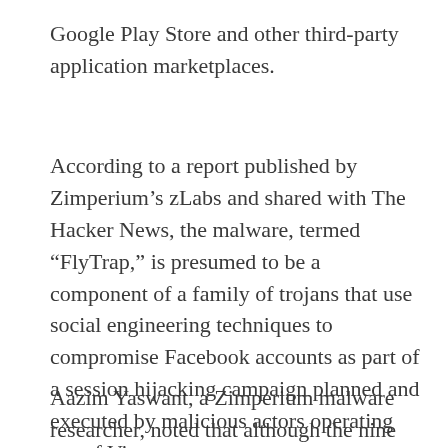Google Play Store and other third-party application marketplaces.
According to a report published by Zimperium's zLabs and shared with The Hacker News, the malware, termed “FlyTrap,” is presumed to be a component of a family of trojans that use social engineering techniques to compromise Facebook accounts as part of a session hijacking campaign planned and executed by malicious actors operating out of Vietnam.
Aazim Yaswant, a Zimperium malware researcher, noted that although the nine infringing apps have